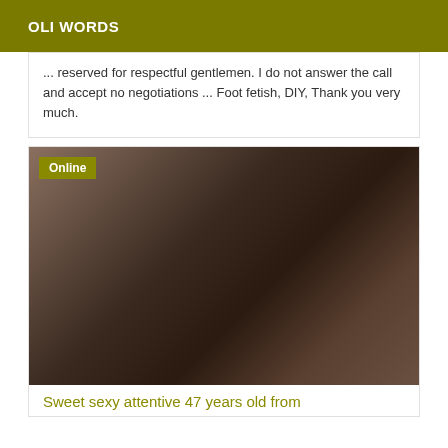OLI WORDS
... reserved for respectful gentlemen. I do not answer the call and accept no negotiations ... Foot fetish, DIY, Thank you very much.
[Figure (photo): Photo with Online badge overlay showing a person wearing dark clothing]
Sweet sexy attentive 47 years old from